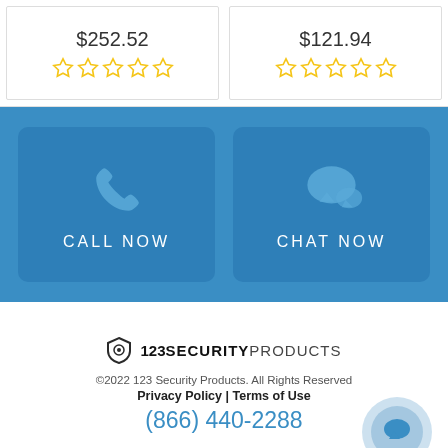$252.52
$121.94
[Figure (infographic): Blue CTA section with two buttons: CALL NOW (phone icon) and CHAT NOW (speech bubble icon)]
[Figure (logo): 123 Security Products logo with shield icon]
©2022 123 Security Products. All Rights Reserved
Privacy Policy | Terms of Use
(866) 440-2288